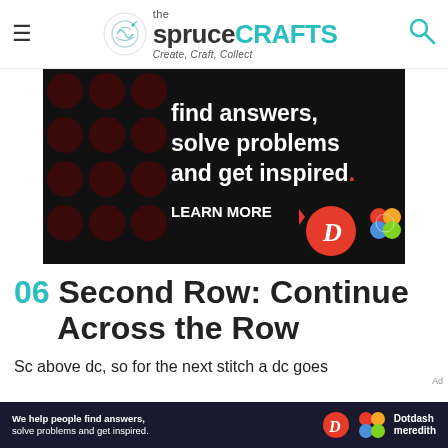the spruce CRAFTS — Create, Craft, Collect
[Figure (photo): Advertisement banner: dark background with red dots pattern. Text reads 'find answers, solve problems and get inspired. LEARN MORE' with Dotdash and Meredith logos.]
06 Second Row: Continue Across the Row
Sc above dc, so for the next stitch a dc goes
[Figure (photo): Bottom advertisement bar: 'We help people find answers, solve problems and get inspired.' with Dotdash Meredith logos on dark background.]